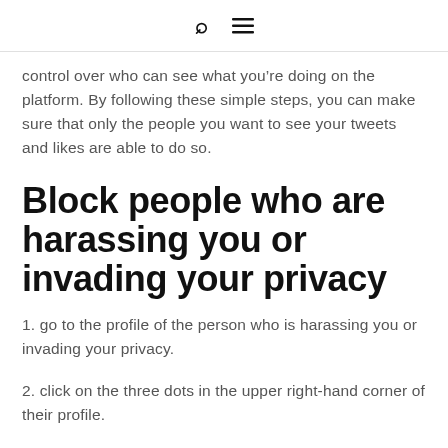[search icon] [menu icon]
control over who can see what you’re doing on the platform. By following these simple steps, you can make sure that only the people you want to see your tweets and likes are able to do so.
Block people who are harassing you or invading your privacy
1. go to the profile of the person who is harassing you or invading your privacy.
2. click on the three dots in the upper right-hand corner of their profile.